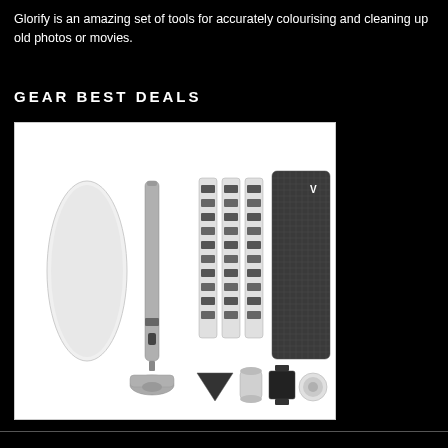Glorify is an amazing set of tools for accurately colourising and cleaning up old photos or movies.
GEAR BEST DEALS
[Figure (photo): Product photo of a screwdriver kit including a white case, a metal pen-style screwdriver, three bit extension bars, a dark grid cutting mat, a triangular pry tool, a cylindrical bit holder, a black phone holder clip, and a circular suction cup, all on a white background.]